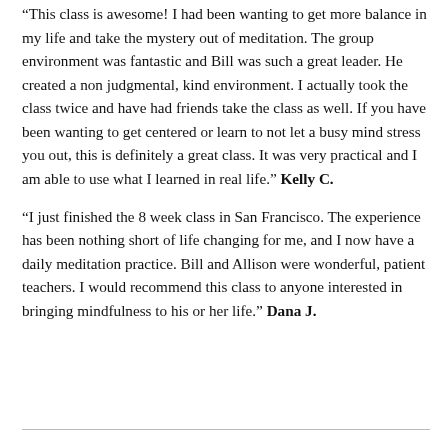“This class is awesome! I had been wanting to get more balance in my life and take the mystery out of meditation. The group environment was fantastic and Bill was such a great leader. He created a non judgmental, kind environment. I actually took the class twice and have had friends take the class as well. If you have been wanting to get centered or learn to not let a busy mind stress you out, this is definitely a great class. It was very practical and I am able to use what I learned in real life.” Kelly C.
“I just finished the 8 week class in San Francisco. The experience has been nothing short of life changing for me, and I now have a daily meditation practice. Bill and Allison were wonderful, patient teachers. I would recommend this class to anyone interested in bringing mindfulness to his or her life.” Dana J.